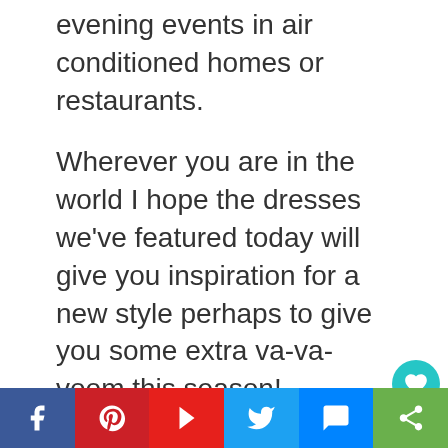evening events in air conditioned homes or restaurants.
Wherever you are in the world I hope the dresses we've featured today will give you inspiration for a new style perhaps to give you some extra va-va-voom this season!
Dress to Impress at Noni B
If you're in Australia or New Zealand check